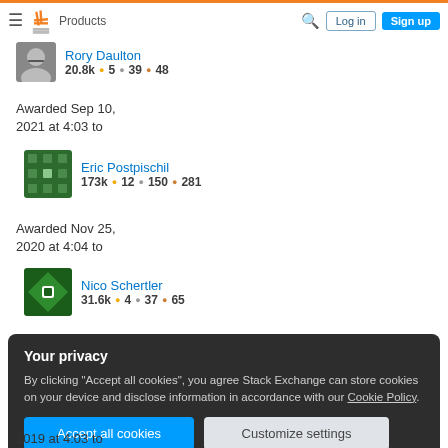≡  Products  🔍  Log in  Sign up
Rory Daulton
20.8k ● 5 ● 39 ● 48
Awarded Sep 10, 2021 at 4:03 to
Eric Postpischil
173k ● 12 ● 150 ● 281
Awarded Nov 25, 2020 at 4:04 to
Nico Schertler
31.6k ● 4 ● 37 ● 65
Your privacy
By clicking "Accept all cookies", you agree Stack Exchange can store cookies on your device and disclose information in accordance with our Cookie Policy.
Accept all cookies   Customize settings
2019 at 4:03 to